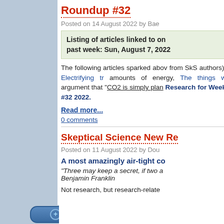Roundup #32
Posted on 14 August 2022 by Bae
Listing of articles linked to on past week: Sun, August 7, 2022
The following articles sparked abov from SkS authors): Electrifying tr amounts of energy, The things w argument that “CO2 is simply plan Research for Week #32 2022.
Read more...
0 comments
Skeptical Science New Re
Posted on 11 August 2022 by Dou
A most amazingly air-tight co
"Three may keep a secret, if two a Benjamin Franklin
Not research, but research-relate